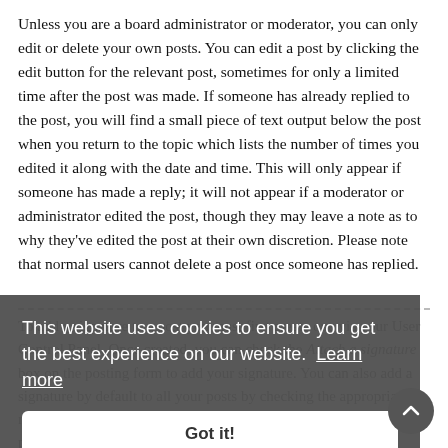Unless you are a board administrator or moderator, you can only edit or delete your own posts. You can edit a post by clicking the edit button for the relevant post, sometimes for only a limited time after the post was made. If someone has already replied to the post, you will find a small piece of text output below the post when you return to the topic which lists the number of times you edited it along with the date and time. This will only appear if someone has made a reply; it will not appear if a moderator or administrator edited the post, though they may leave a note as to why they've edited the post at their own discretion. Please note that normal users cannot delete a post once someone has replied.
[Figure (screenshot): Cookie consent overlay banner reading 'This website uses cookies to ensure you get the best experience on our website. Learn more' with a 'Got it!' button, overlaying partially visible text about adding a signature to posts.]
To add a signature to a post you must first create one via your User Control Panel. Once created, you can check the Attach a signature box on the posting form to add your signature. You can also add a signature by default to all your posts by checking the appropriate radio button in the User Control Panel. If you do so, you can still prevent a